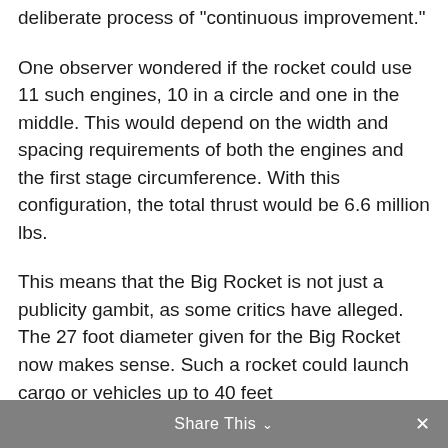deliberate process of "continuous improvement."
One observer wondered if the rocket could use 11 such engines, 10 in a circle and one in the middle. This would depend on the width and spacing requirements of both the engines and the first stage circumference. With this configuration, the total thrust would be 6.6 million lbs.
This means that the Big Rocket is not just a publicity gambit, as some critics have alleged. The 27 foot diameter given for the Big Rocket now makes sense. Such a rocket could launch cargo or vehicles up to 40 feet
Share This ∨  ✕